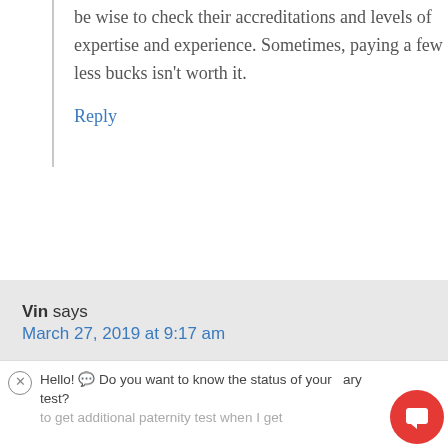be wise to check their accreditations and levels of expertise and experience. Sometimes, paying a few less bucks isn't worth it.
Reply
Vin says
March 27, 2019 at 9:17 am
Hello! Do you want to know the status of your salary to get additional paternity test when I get